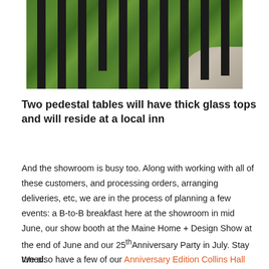[Figure (photo): Outdoor photo showing black vertical metal poles/pedestals standing in green grass, with a gravel path visible in the lower right corner.]
Two pedestal tables will have thick glass tops and will reside at a local inn
And the showroom is busy too. Along with working with all of these customers, and processing orders, arranging deliveries, etc, we are in the process of planning a few events: a B-to-B breakfast here at the showroom in mid June, our show booth at the Maine Home + Design Show at the end of June and our 25th Anniversary Party in July. Stay tuned.
We also have a few of our Anniversary Edition Collins Hall Tables still available here at the showroom and